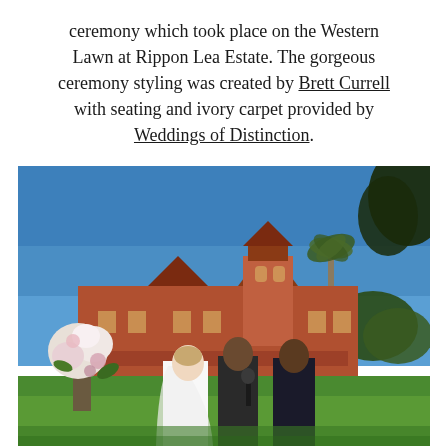ceremony which took place on the Western Lawn at Rippon Lea Estate. The gorgeous ceremony styling was created by Brett Currell with seating and ivory carpet provided by Weddings of Distinction.
[Figure (photo): Outdoor wedding ceremony on the Western Lawn at Rippon Lea Estate. A bride in a white dress and veil stands with a groom and officiant holding a microphone, with a grand Victorian red-brick estate building in the background under a clear blue sky, palm tree visible, and floral arrangements in the foreground.]